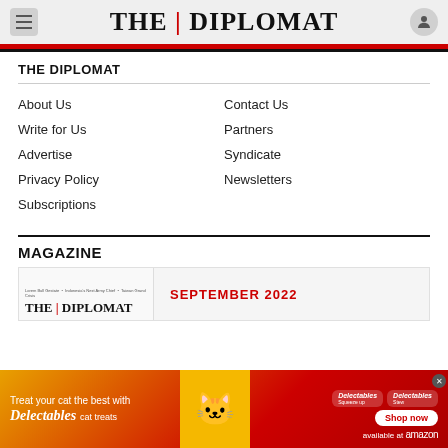THE|DIPLOMAT
THE DIPLOMAT
About Us
Contact Us
Write for Us
Partners
Advertise
Syndicate
Privacy Policy
Newsletters
Subscriptions
MAGAZINE
[Figure (screenshot): The Diplomat magazine cover preview showing September 2022 issue]
[Figure (photo): Advertisement banner for Delectables cat treats by Hershey, showing a cat and products, with Shop now button available at amazon]